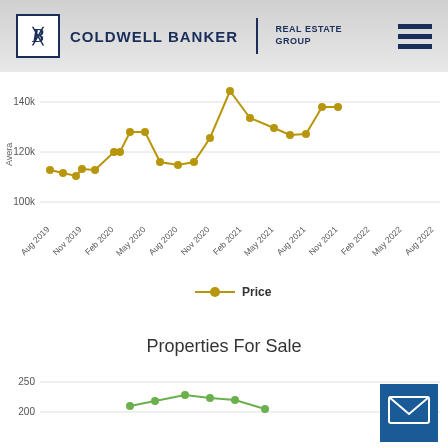[Figure (logo): Coldwell Banker Real Estate Group logo with hamburger menu icon]
[Figure (line-chart): Average Price]
Properties For Sale
[Figure (line-chart): Properties For Sale]